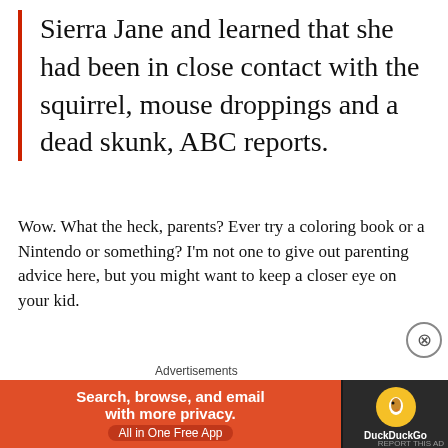Sierra Jane and learned that she had been in close contact with the squirrel, mouse droppings and a dead skunk, ABC reports.
Wow. What the heck, parents? Ever try a coloring book or a Nintendo or something? I'm not one to give out parenting advice here, but you might want to keep a closer eye on your kid.
[Figure (other): Broken/loading image placeholder]
Advertisements
[Figure (other): DuckDuckGo advertisement banner: Search, browse, and email with more privacy. All in One Free App. DuckDuckGo logo.]